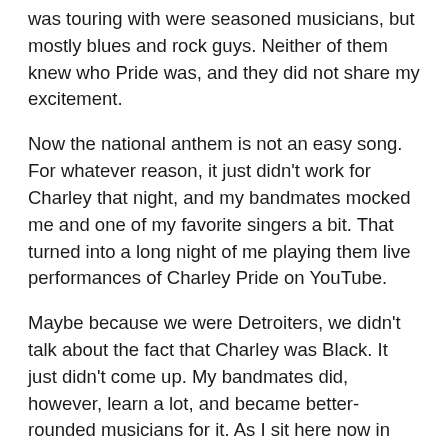was touring with were seasoned musicians, but mostly blues and rock guys. Neither of them knew who Pride was, and they did not share my excitement.
Now the national anthem is not an easy song. For whatever reason, it just didn't work for Charley that night, and my bandmates mocked me and one of my favorite singers a bit. That turned into a long night of me playing them live performances of Charley Pride on YouTube.
Maybe because we were Detroiters, we didn't talk about the fact that Charley was Black. It just didn't come up. My bandmates did, however, learn a lot, and became better-rounded musicians for it. As I sit here now in Nashville, writing this on Martin Luther King Jr.'s birthday, Charley's Blackness does bear mentioning. It is a part of his story. It is a part of the Black Lives Matter story. It is a significant part of American history. The fact that Charley is one of